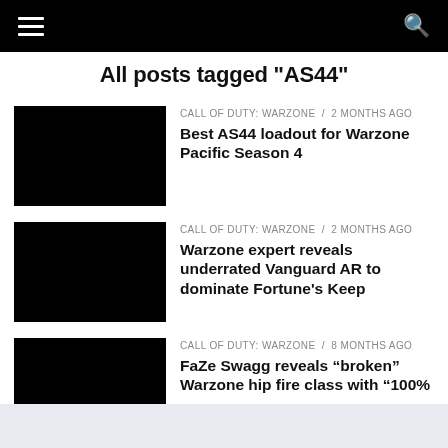All posts tagged "AS44"
[Figure (photo): Black thumbnail image for first article]
CALL OF DUTY: WARZONE / 2 months ago — Best AS44 loadout for Warzone Pacific Season 4
[Figure (photo): Black thumbnail image for second article]
CALL OF DUTY: WARZONE / 2 months ago — Warzone expert reveals underrated Vanguard AR to dominate Fortune's Keep
[Figure (photo): Black thumbnail image for third article]
CALL OF DUTY: WARZONE / 8 months ago — FaZe Swagg reveals “broken” Warzone hip fire class with “100%